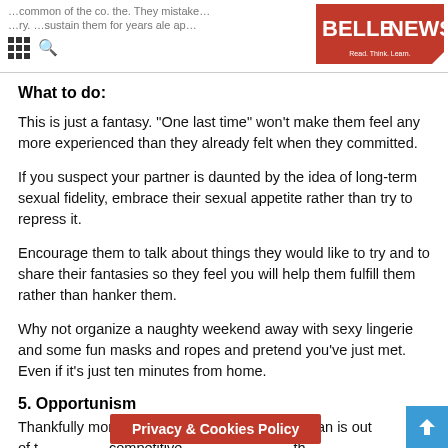BELLENEWS – Read. Think. Learn.
What to do:
This is just a fantasy. "One last time" won't make them feel any more experienced than they already felt when they committed.
If you suspect your partner is daunted by the idea of long-term sexual fidelity, embrace their sexual appetite rather than try to repress it.
Encourage them to talk about things they would like to try and to share their fantasies so they feel you will help them fulfill them rather than hanker them.
Why not organize a naughty weekend away with sexy lingerie and some fun masks and ropes and pretend you've just met. Even if it's just ten minutes from home.
5. Opportunism
Thankfully more rare than peo… woman is out of t… competitive… th…